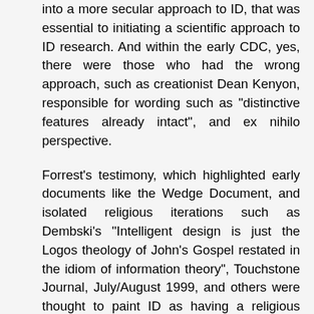into a more secular approach to ID, that was essential to initiating a scientific approach to ID research. And within the early CDC, yes, there were those who had the wrong approach, such as creationist Dean Kenyon, responsible for wording such as "distinctive features already intact", and ex nihilo perspective.
Forrest's testimony, which highlighted early documents like the Wedge Document, and isolated religious iterations such as Dembski's "Intelligent design is just the Logos theology of John's Gospel restated in the idiom of information theory", Touchstone Journal, July/August 1999, and others were thought to paint ID as having a religious basis, which it does not, with few exceptions.
The fact that some early proponents were religious, and made religious statements, is incidental to what design inferences are assessed by, which is certain proteins, enzymes, co-dependent structures, deemed by statistical